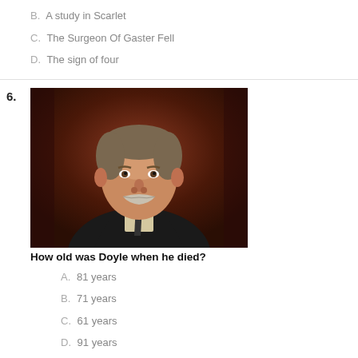B. A study in Scarlet
C. The Surgeon Of Gaster Fell
D. The sign of four
[Figure (photo): Portrait painting of Arthur Conan Doyle, an older man with a mustache wearing a dark suit with a tie, painted against a dark red/brown background.]
How old was Doyle when he died?
A. 81 years
B. 71 years
C. 61 years
D. 91 years
[Figure (photo): Partial view of two black and white photographs side by side, partially cut off at the bottom of the page.]